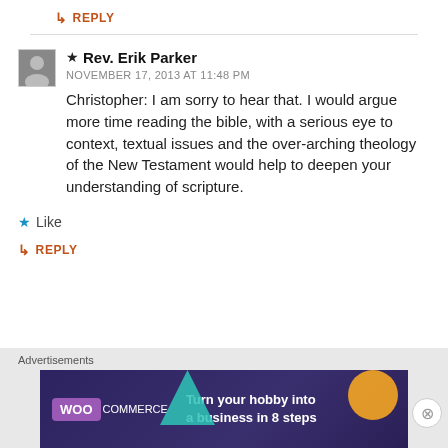↳ REPLY
★ Rev. Erik Parker
NOVEMBER 17, 2013 AT 11:48 PM
Christopher: I am sorry to hear that. I would argue more time reading the bible, with a serious eye to context, textual issues and the over-arching theology of the New Testament would help to deepen your understanding of scripture.
★ Like
↳ REPLY
[Figure (screenshot): WooCommerce advertisement banner: 'Turn your hobby into a business in 8 steps']